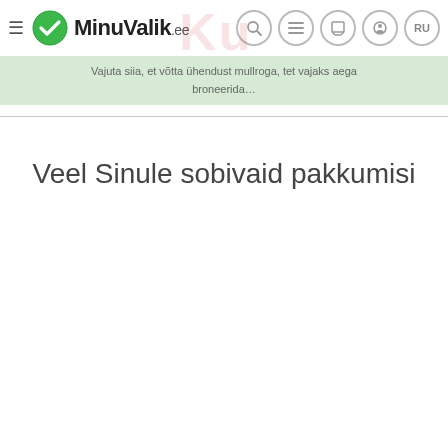≡ MinuValik.ee
Vajuta siia, et võtta ühendust mullroga, tet vajaks aega broneerida…
Veel Sinule sobivaid pakkumisi